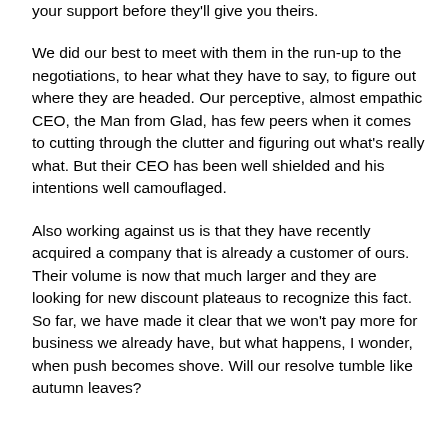your support before they'll give you theirs.
We did our best to meet with them in the run-up to the negotiations, to hear what they have to say, to figure out where they are headed. Our perceptive, almost empathic CEO, the Man from Glad, has few peers when it comes to cutting through the clutter and figuring out what's really what. But their CEO has been well shielded and his intentions well camouflaged.
Also working against us is that they have recently acquired a company that is already a customer of ours. Their volume is now that much larger and they are looking for new discount plateaus to recognize this fact. So far, we have made it clear that we won't pay more for business we already have, but what happens, I wonder, when push becomes shove. Will our resolve tumble like autumn leaves?